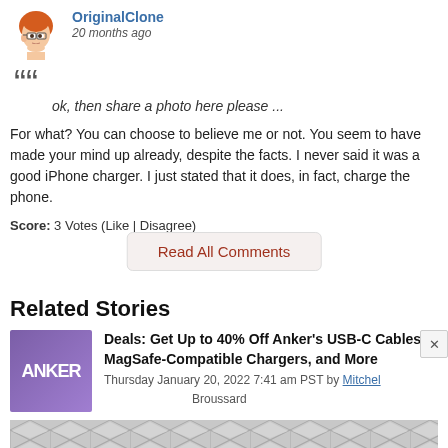[Figure (illustration): Cartoon avatar of a red-haired person with glasses, looking to the left]
OriginalClone
20 months ago
ok, then share a photo here please ...
For what? You can choose to believe me or not. You seem to have made your mind up already, despite the facts. I never said it was a good iPhone charger. I just stated that it does, in fact, charge the phone.
Score: 3 Votes (Like | Disagree)
Read All Comments
Related Stories
[Figure (logo): Anker brand logo tile in purple/violet gradient with text ANKER]
Deals: Get Up to 40% Off Anker's USB-C Cables, MagSafe-Compatible Chargers, and More
Thursday January 20, 2022 7:41 am PST by Mitchel Broussard
[Figure (illustration): Gray geometric pattern strip with hexagonal/diamond tessellation]